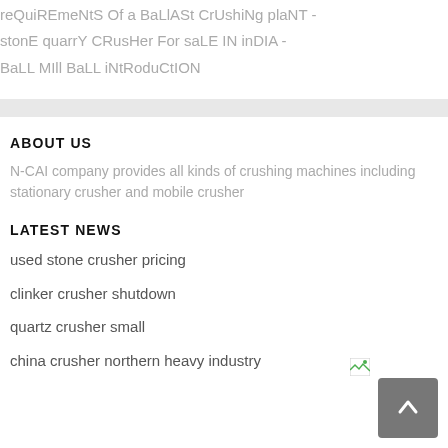reQuiREmeNtS Of a BaLlASt CrUshiNg plaNT -
stonE quarrY CRusHer For saLE IN inDIA -
BaLL MIll BaLL iNtRoduCtION
ABOUT US
N-CAI company provides all kinds of crushing machines including stationary crusher and mobile crusher
LATEST NEWS
used stone crusher pricing
clinker crusher shutdown
quartz crusher small
china crusher northern heavy industry